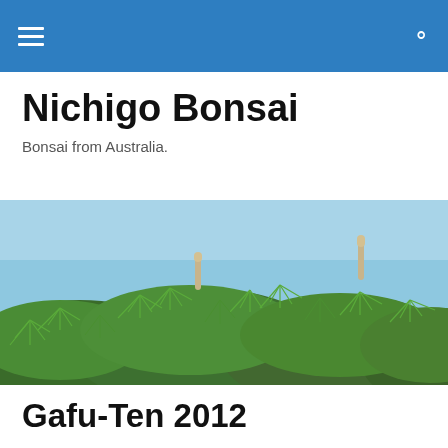≡  🔍
Nichigo Bonsai
Bonsai from Australia.
[Figure (photo): Close-up photo of pine bonsai branches with needle clusters and candles against a light blue sky]
TAGGED WITH GAFU-TEN 2012
Gafu-Ten 2012
On the last day of our recent Japan trip we managed to